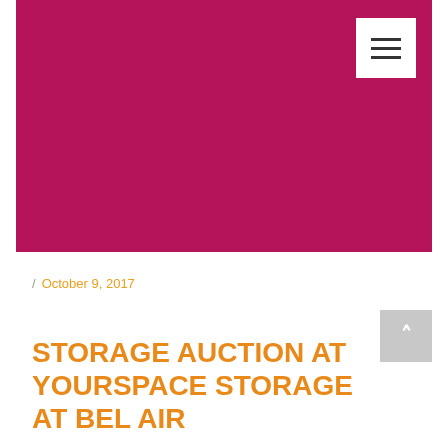[Figure (photo): Large magenta/hot pink colored hero image banner at top of webpage]
/ October 9, 2017
STORAGE AUCTION AT YOURSPACE STORAGE AT BEL AIR